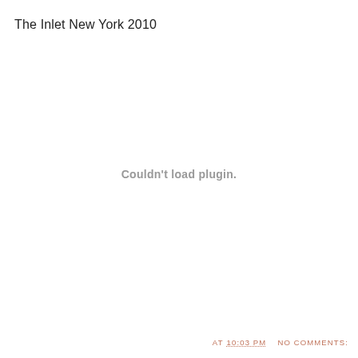The Inlet New York 2010
Couldn't load plugin.
AT 10:03 PM   NO COMMENTS: